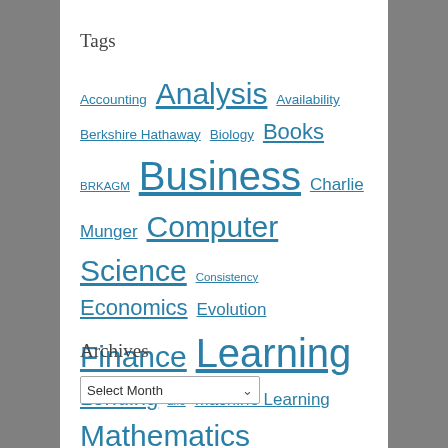Tags
Accounting Analysis Availability Berkshire Hathaway Biology Books BRKAGM Business Charlie Munger Computer Science Consistency Economics Evolution Finance Learning Lending Life Machine Learning Mathematics Mental Models Number Sense Other Models Presentation Psychology Reading Real Estate Recommender Systems Role Models Statistics Teaching Thinking Valuation Warren Buffett Why Writing
Archives
Select Month